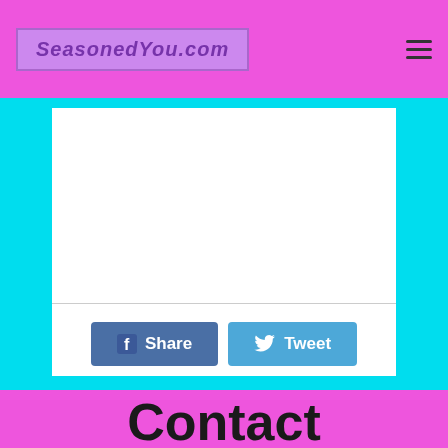SeasonedYou.com
[Figure (screenshot): White content area with a horizontal divider line and two social sharing buttons: a blue 'Share' button with Facebook icon and a light-blue 'Tweet' button with Twitter bird icon]
Contact